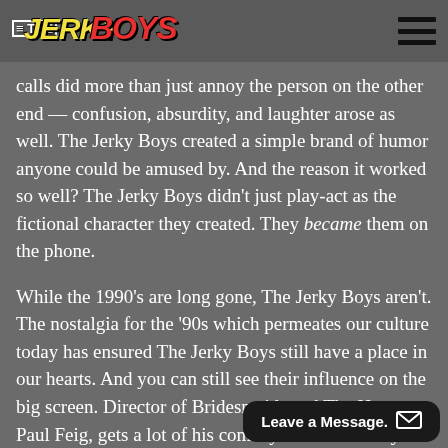THE JERKY BOYS
calls did more than just annoy the person on the other end — confusion, absurdity, and laughter arose as well. The Jerky Boys created a simple brand of humor anyone could be amused by. And the reason it worked so well? The Jerky Boys didn't just play-act as the fictional character they created. They became them on the phone.
While the 1990's are long gone, The Jerky Boys aren't. The nostalgia for the '90s which permeates our culture today has ensured The Jerky Boys still have a place in our hearts. And you can still see their influence on the big screen. Director of Bridesmaids and The Heat, Paul Feig, gets a lot of his comedy from The Jerky Boys. Comedian Amy Sch…
Leave a Message.